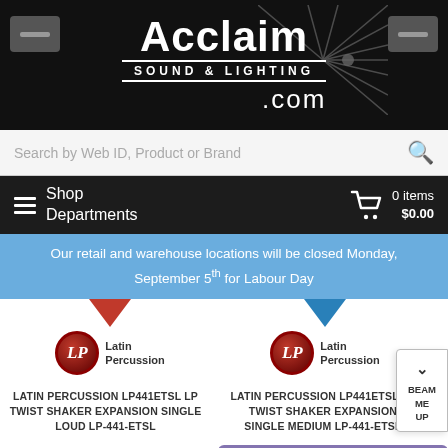[Figure (logo): Acclaim Sound & Lighting .com logo on black background with starburst graphic]
Search by Web ID, Product or Brand
Shop
Departments
0 items $0.00
Our retail and warehouse locations will be closed Monday, September 5th for Labour Day
LATIN PERCUSSION LP441ETSL LP TWIST SHAKER EXPANSION SINGLE LOUD LP-441-ETSL
LATIN PERCUSSION LP441ETSL LP TWIST SHAKER EXPANSION SINGLE MEDIUM LP-441-ETSL
MSRP$21.95
CAD $13.99
MSRP$21.95
Questions? Deals?